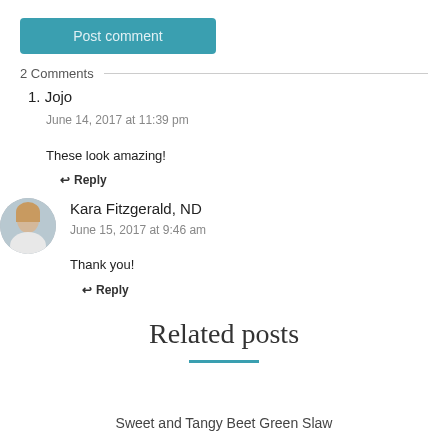Post comment
2 Comments
1. Jojo
June 14, 2017 at 11:39 pm
These look amazing!
↩ Reply
[Figure (photo): Circular avatar photo of Kara Fitzgerald, ND]
Kara Fitzgerald, ND
June 15, 2017 at 9:46 am
Thank you!
↩ Reply
Related posts
Sweet and Tangy Beet Green Slaw